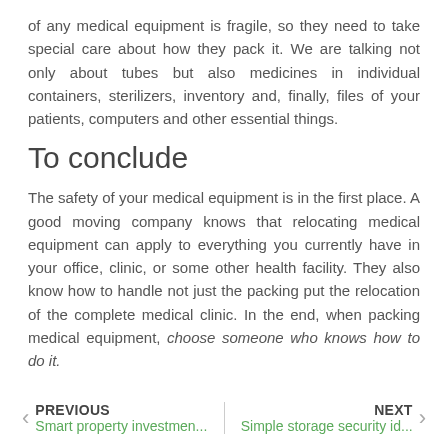of any medical equipment is fragile, so they need to take special care about how they pack it. We are talking not only about tubes but also medicines in individual containers, sterilizers, inventory and, finally, files of your patients, computers and other essential things.
To conclude
The safety of your medical equipment is in the first place. A good moving company knows that relocating medical equipment can apply to everything you currently have in your office, clinic, or some other health facility. They also know how to handle not just the packing put the relocation of the complete medical clinic. In the end, when packing medical equipment, choose someone who knows how to do it.
PREVIOUS Smart property investmen... | NEXT Simple storage security id...